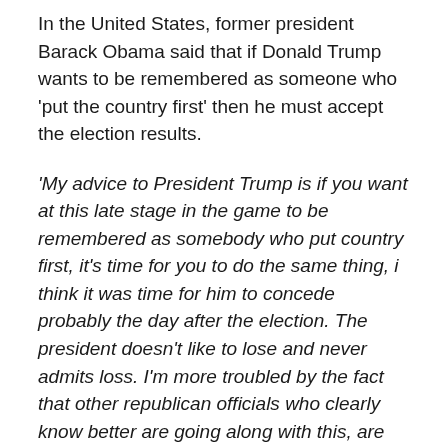In the United States, former president Barack Obama said that if Donald Trump wants to be remembered as someone who 'put the country first' then he must accept the election results.
'My advice to President Trump is if you want at this late stage in the game to be remembered as somebody who put country first, it's time for you to do the same thing, i think it was time for him to concede probably the day after the election. The president doesn't like to lose and never admits loss. I'm more troubled by the fact that other republican officials who clearly know better are going along with this, are humouring him in this fashion. It is one more step in delegitimising not just the incoming